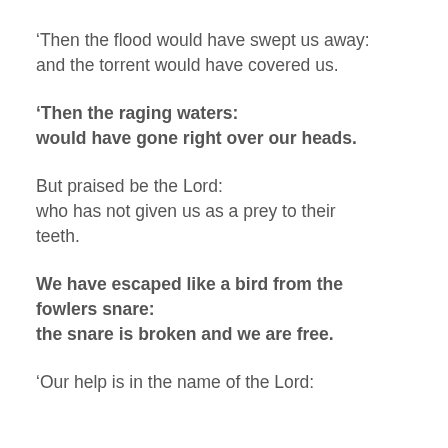‘Then the flood would have swept us away: and the torrent would have covered us.
‘Then the raging waters: would have gone right over our heads.
But praised be the Lord: who has not given us as a prey to their teeth.
We have escaped like a bird from the fowlers snare: the snare is broken and we are free.
‘Our help is in the name of the Lord: